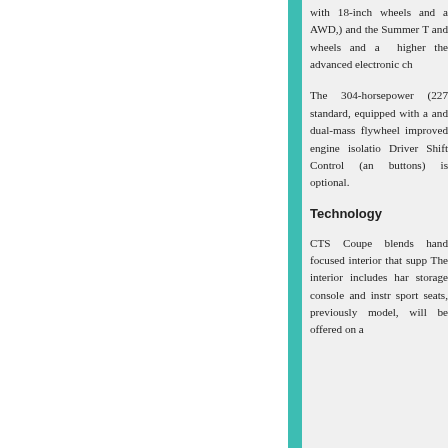with 18-inch wheels and a AWD,) and the Summer T and wheels and a higher the advanced electronic ch
The 304-horsepower (227 standard, equipped with a and dual-mass flywheel improved engine isolatio Driver Shift Control (an buttons) is optional.
Technology
CTS Coupe blends hand focused interior that supp The interior includes har storage console and instr sport seats, previously model, will be offered on a